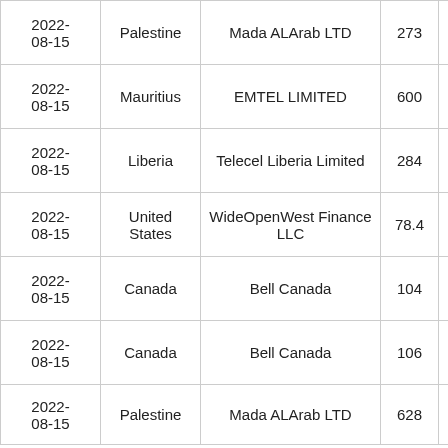| Date | Country | Organization | Number |  |
| --- | --- | --- | --- | --- |
| 2022-08-15 | Palestine | Mada ALArab LTD | 273 |  |
| 2022-08-15 | Mauritius | EMTEL LIMITED | 600 |  |
| 2022-08-15 | Liberia | Telecel Liberia Limited | 284 |  |
| 2022-08-15 | United States | WideOpenWest Finance LLC | 78.4 |  |
| 2022-08-15 | Canada | Bell Canada | 104 |  |
| 2022-08-15 | Canada | Bell Canada | 106 |  |
| 2022-08-15 | Palestine | Mada ALArab LTD | 628 |  |